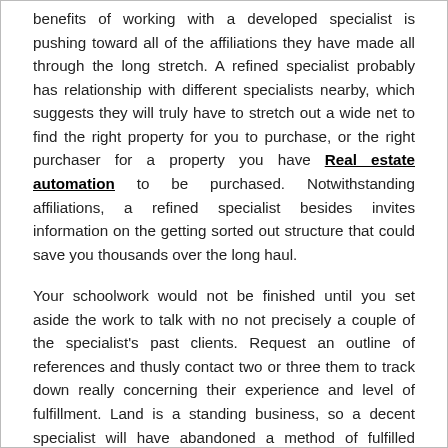benefits of working with a developed specialist is pushing toward all of the affiliations they have made all through the long stretch. A refined specialist probably has relationship with different specialists nearby, which suggests they will truly have to stretch out a wide net to find the right property for you to purchase, or the right purchaser for a property you have Real estate automation to be purchased. Notwithstanding affiliations, a refined specialist besides invites information on the getting sorted out structure that could save you thousands over the long haul.
Your schoolwork would not be finished until you set aside the work to talk with no not precisely a couple of the specialist's past clients. Request an outline of references and thusly contact two or three them to track down really concerning their experience and level of fulfillment. Land is a standing business, so a decent specialist will have abandoned a method of fulfilled clients them generally through their occupation. On the off chance that you are trying to sell your home, you truly need to ensure the specialist will truly have to make the most of the electronic